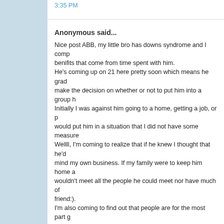3:35 PM
Anonymous said...
Nice post ABB, my little bro has downs syndrome and I comp benifits that come from time spent with him. He's coming up on 21 here pretty soon which means he grad make the decision on whether or not to put him into a group h Initially I was against him going to a home, getting a job, or p would put him in a situation that I did not have some measure Wellll, I'm coming to realize that if he knew I thought that he'd mind my own business. If my family were to keep him home a wouldn't meet all the people he could meet nor have much of friend:). I'm also coming to find out that people are for the most part g day my brother meets them he has a way of drawing that shi Also, there's this minor league baseball team, Lakewood Blue they employ a lot of mentally disabled people and it sounds li
4:02 PM
Anonymous said...
Hey,
Good post. I can identify - my little brother has Down Syndro